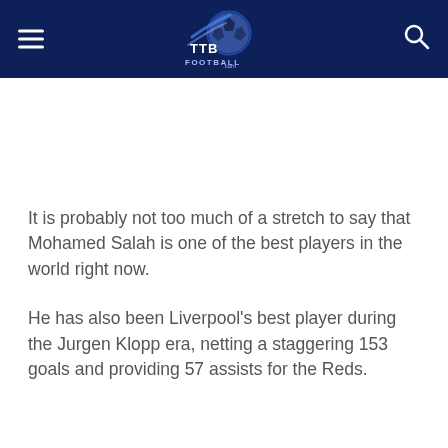TTB Football
It is probably not too much of a stretch to say that Mohamed Salah is one of the best players in the world right now.
He has also been Liverpool's best player during the Jurgen Klopp era, netting a staggering 153 goals and providing 57 assists for the Reds.